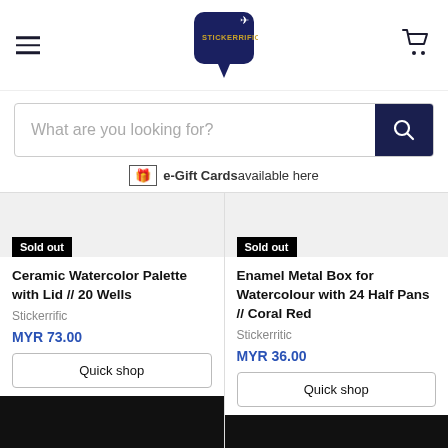[Figure (logo): Stickerrific logo — dark navy blue speech bubble shape with a white airplane icon and gold/yellow text reading STICKERRIFIC]
[Figure (other): Cart icon (shopping trolley outline) in dark navy]
What are you looking for?
e-Gift Cards available here
Sold out
Ceramic Watercolor Palette with Lid // 20 Wells
Stickerrific
MYR 73.00
Quick shop
Sold out
Enamel Metal Box for Watercolour with 24 Half Pans // Coral Red
Stickerrific
MYR 36.00
Quick shop